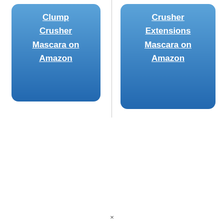[Figure (infographic): Left blue card with links: Clump Crusher, Crusher Mascara on Amazon]
[Figure (infographic): Right blue card with links: Crusher Extensions Mascara on Amazon]